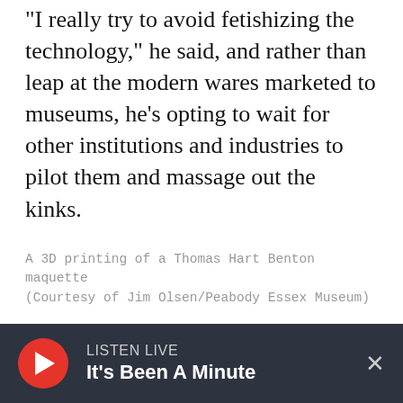"I really try to avoid fetishizing the technology," he said, and rather than leap at the modern wares marketed to museums, he's opting to wait for other institutions and industries to pilot them and massage out the kinks.
A 3D printing of a Thomas Hart Benton maquette (Courtesy of Jim Olsen/Peabody Essex Museum)
Instead, Olson looks for technology that can change the way visitors understand a work or deepen their comprehension of an artist's process. For instance, he's a champion of 3-D printing.
LISTEN LIVE | It's Been A Minute